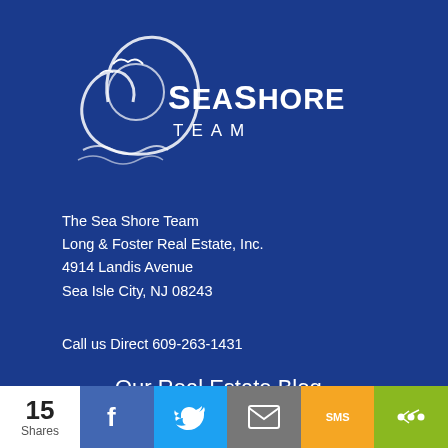[Figure (logo): SeaShore Team logo with circular wave/bird motif and text 'SeaShore Team' in white on dark blue background]
The Sea Shore Team
Long & Foster Real Estate, Inc.
4914 Landis Avenue
Sea Isle City, NJ 08243
Call us Direct 609-263-1431
Our Real Estate Blog
Facebook
Twitter
LinkedIn
Instagram
[Figure (logo): Long & Foster logo on red banner at bottom]
15 Shares